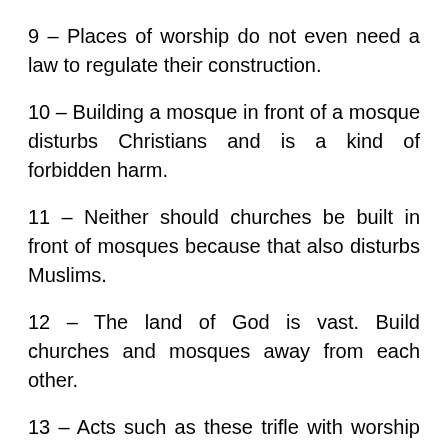9 – Places of worship do not even need a law to regulate their construction.
10 – Building a mosque in front of a mosque disturbs Christians and is a kind of forbidden harm.
11 – Neither should churches be built in front of mosques because that also disturbs Muslims.
12 – The land of God is vast. Build churches and mosques away from each other.
13 – Acts such as these trifle with worship and the role of places of worship, and it is a